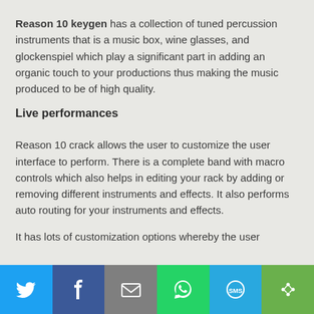Reason 10 keygen has a collection of tuned percussion instruments that is a music box, wine glasses, and glockenspiel which play a significant part in adding an organic touch to your productions thus making the music produced to be of high quality.
Live performances
Reason 10 crack allows the user to customize the user interface to perform. There is a complete band with macro controls which also helps in editing your rack by adding or removing different instruments and effects. It also performs auto routing for your instruments and effects.
It has lots of customization options whereby the user